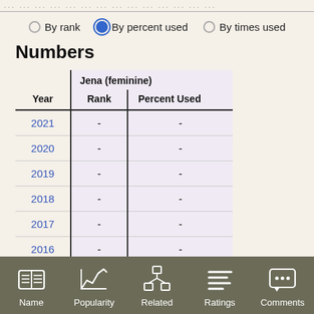... ... ... ... ... ... ... ... ... ... ... ...
By rank   By percent used   By times used
Numbers
| Year | Jena (feminine) Rank | Jena (feminine) Percent Used |
| --- | --- | --- |
| 2021 | - | - |
| 2020 | - | - |
| 2019 | - | - |
| 2018 | - | - |
| 2017 | - | - |
| 2016 | - | - |
| 2015 | - | - |
Name   Popularity   Related   Ratings   Comments